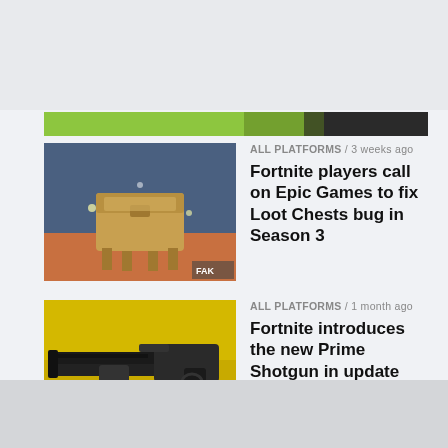[Figure (screenshot): Partial green and dark image strip at top, partially cropped]
[Figure (photo): Fortnite loot chest / treasure chest on legs in game environment]
ALL PLATFORMS / 3 weeks ago
Fortnite players call on Epic Games to fix Loot Chests bug in Season 3
[Figure (photo): Fortnite Prime Shotgun weapon on yellow background]
ALL PLATFORMS / 1 month ago
Fortnite introduces the new Prime Shotgun in update v21.30